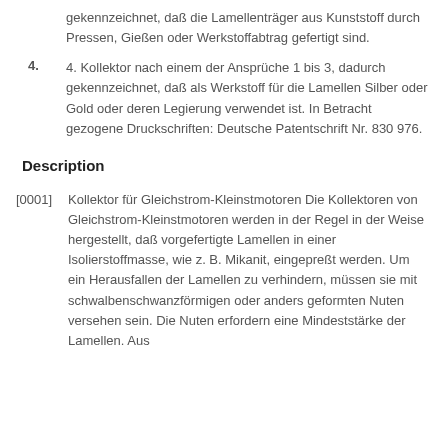gekennzeichnet, daß die Lamellenträger aus Kunststoff durch Pressen, Gießen oder Werkstoffabtrag gefertigt sind.
4. Kollektor nach einem der Ansprüche 1 bis 3, dadurch gekennzeichnet, daß als Werkstoff für die Lamellen Silber oder Gold oder deren Legierung verwendet ist. In Betracht gezogene Druckschriften: Deutsche Patentschrift Nr. 830 976.
Description
[0001] Kollektor für Gleichstrom-Kleinstmotoren Die Kollektoren von Gleichstrom-Kleinstmotoren werden in der Regel in der Weise hergestellt, daß vorgefertigte Lamellen in einer Isolierstoffmasse, wie z. B. Mikanit, eingepreßt werden. Um ein Herausfallen der Lamellen zu verhindern, müssen sie mit schwalbenschwanzförmigen oder anders geformten Nuten versehen sein. Die Nuten erfordern eine Mindeststärke der Lamellen. Aus